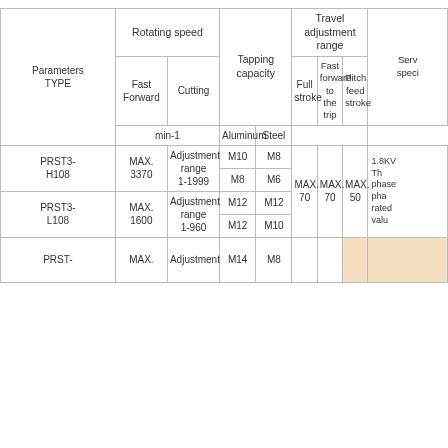| Parameters TYPE | Rotating speed (Fast Forward) | Rotating speed (Cutting) | Tapping capacity (Aluminum) | Tapping capacity (Steel) | Travel adjustment range (Full stroke) | Travel adjustment range (Fast forward to the trip) | Travel adjustment range (Pitch feed stroke) | Servo speci... |
| --- | --- | --- | --- | --- | --- | --- | --- | --- |
| PRST3-H108 | MAX. 3370 | Adjustment range 1-1999 | M10 | M8 | MAX. 70 | MAX. 70 | MAX. 50 | 1.8KV Th phase pha rated valu |
| PRST3-H108 | MAX. 3370 | Adjustment range 1-1999 | M8 | M6 | MAX. 70 | MAX. 70 | MAX. 50 |  |
| PRST3-L108 | MAX. 1600 | Adjustment range 1-960 | M12 | M12 |  |  |  |  |
| PRST3-L108 | MAX. 1600 | Adjustment range 1-960 | M12 | M10 |  |  |  |  |
| PRST-... | MAX. | Adjustment | M14 | M8 |  |  |  |  |